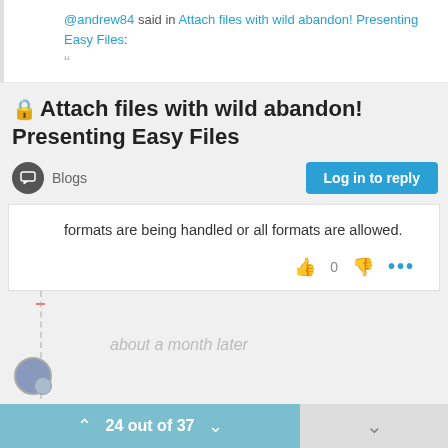@andrew84 said in Attach files with wild abandon! Presenting Easy Files:
🔒Attach files with wild abandon! Presenting Easy Files
Blogs
Log in to reply
formats are being handled or all formats are allowed.
about a month later
24 out of 37